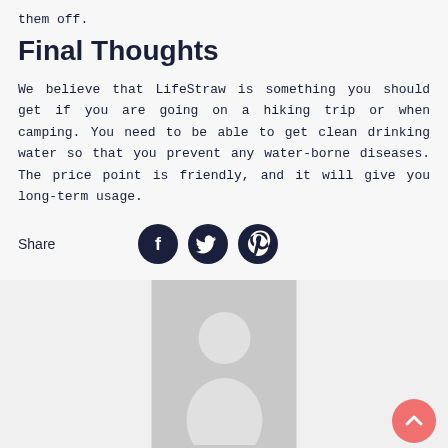them off.
Final Thoughts
We believe that LifeStraw is something you should get if you are going on a hiking trip or when camping. You need to be able to get clean drinking water so that you prevent any water-borne diseases. The price point is friendly, and it will give you long-term usage.
Share
[Figure (illustration): Social share buttons: Facebook, Twitter, Pinterest icons in dark navy circles]
[Figure (photo): Generic grey avatar placeholder image showing a person silhouette]